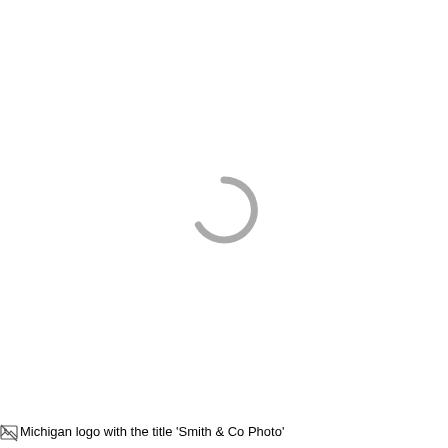[Figure (other): A loading spinner (partial circle arc) rendered in gray, centered on the page, indicating an image failed to load or is still loading.]
Michigan logo with the title 'Smith & Co Photo'